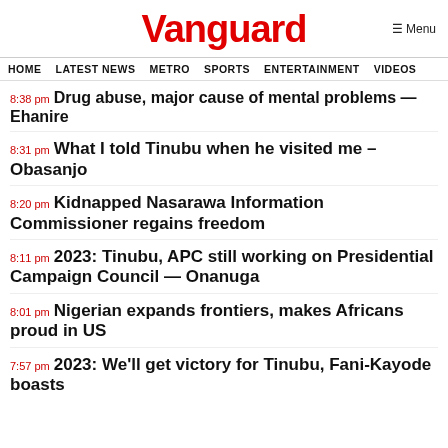Vanguard
HOME  LATEST NEWS  METRO  SPORTS  ENTERTAINMENT  VIDEOS
8:38 pm Drug abuse, major cause of mental problems — Ehanire
8:31 pm What I told Tinubu when he visited me – Obasanjo
8:20 pm Kidnapped Nasarawa Information Commissioner regains freedom
8:11 pm 2023: Tinubu, APC still working on Presidential Campaign Council — Onanuga
8:01 pm Nigerian expands frontiers, makes Africans proud in US
7:57 pm 2023: We'll get victory for Tinubu, Fani-Kayode boasts